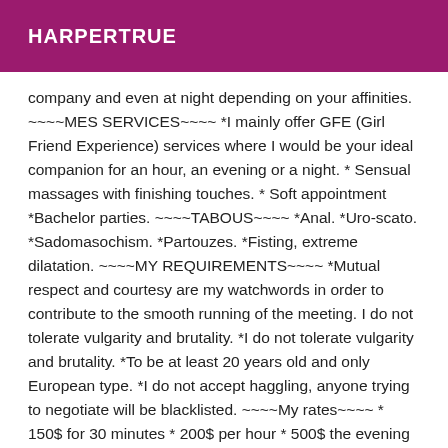HARPERTRUE
company and even at night depending on your affinities. ~~~~MES SERVICES~~~~ *I mainly offer GFE (Girl Friend Experience) services where I would be your ideal companion for an hour, an evening or a night. * Sensual massages with finishing touches. * Soft appointment *Bachelor parties. ~~~~TABOUS~~~~ *Anal. *Uro-scato. *Sadomasochism. *Partouzes. *Fisting, extreme dilatation. ~~~~MY REQUIREMENTS~~~~ *Mutual respect and courtesy are my watchwords in order to contribute to the smooth running of the meeting. I do not tolerate vulgarity and brutality. *I do not tolerate vulgarity and brutality. *To be at least 20 years old and only European type. *I do not accept haggling, anyone trying to negotiate will be blacklisted. ~~~~My rates~~~~ * 150$ for 30 minutes * 200$ per hour * 500$ the evening NB: during my travels a supplement between 20$ and 50$ will be asked depending on the distance. I move to